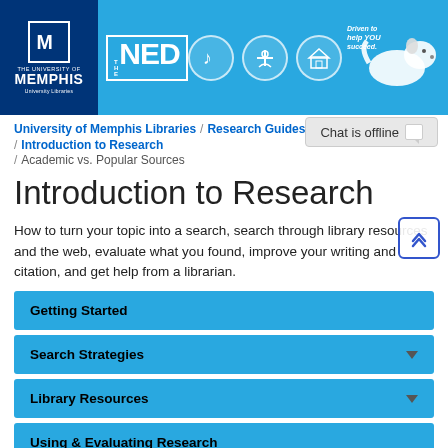[Figure (screenshot): University of Memphis Libraries website header banner with logo, THE NED branding, icons for music, health sciences, lambuth, and a dog mascot with 'Driven to help YOU succeed.' text]
University of Memphis Libraries / Research Guides / Introduction to Research / Academic vs. Popular Sources
Introduction to Research
How to turn your topic into a search, search through library resources and the web, evaluate what you found, improve your writing and citation, and get help from a librarian.
Getting Started
Search Strategies
Library Resources
Using & Evaluating Research
Academic vs. Popular Sources
Scholarly and Popular Sources